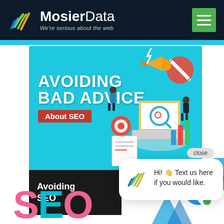[Figure (logo): MosierData logo with colorful wifi/wave icon and text 'MosierData - We're serious about the web' on dark navy header]
[Figure (illustration): Banner image with cyan background showing text 'AVOIDING BAD ADVICE About SEO' with isometric illustration of laptop, megaphone, magnifying glass, charts and business people]
Avoiding Bad Advice About SEO
Hi! 👋 Text us here if you would like.
[Figure (illustration): Chat widget popup with MosierData logo avatar showing message 'Hi! 👋 Text us here if you would like.' with close button]
[Figure (illustration): Blue circular chat icon button in bottom right corner with green dot indicator]
SEO